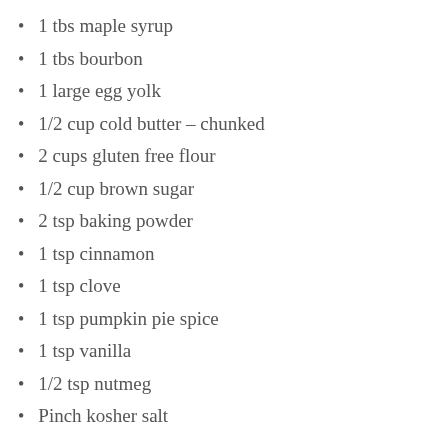1 tbs maple syrup
1 tbs bourbon
1 large egg yolk
1/2 cup cold butter – chunked
2 cups gluten free flour
1/2 cup brown sugar
2 tsp baking powder
1 tsp cinnamon
1 tsp clove
1 tsp pumpkin pie spice
1 tsp vanilla
1/2 tsp nutmeg
Pinch kosher salt